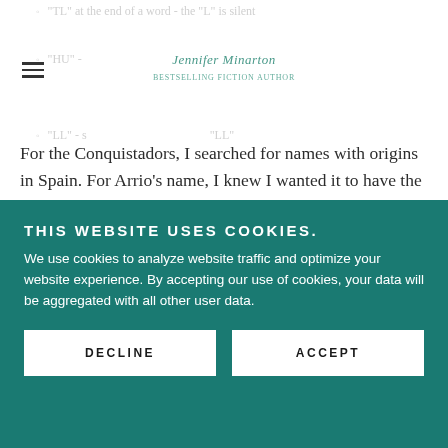"TL" at the end of a word - the "L" is silent
"HU" -
"LL" - s ... "LL"
x - sounds like "sh"
Jennifer Minarton [logo/signature]
For the Conquistadors, I searched for names with origins in Spain. For Arrio's name, I knew I wanted it to have the lovely rolled "r" sound, and so I narrowed it down to names containing the double "r" and finally picked Arrio. I liked the way it rolled off the tongue :)
THIS WEBSITE USES COOKIES.
We use cookies to analyze website traffic and optimize your website experience. By accepting our use of cookies, your data will be aggregated with all other user data.
DECLINE | ACCEPT